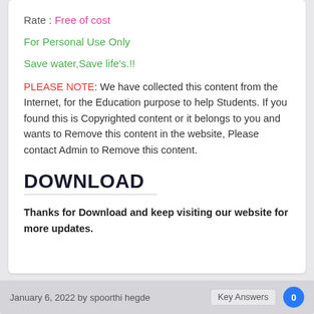Rate : Free of cost
For Personal Use Only
Save water,Save life's.!!
PLEASE NOTE: We have collected this content from the Internet, for the Education purpose to help Students. If you found this is Copyrighted content or it belongs to you and wants to Remove this content in the website, Please contact Admin to Remove this content.
DOWNLOAD
Thanks for Download and keep visiting our website for more updates.
January 6, 2022 by spoorthi hegde  Key Answers  0